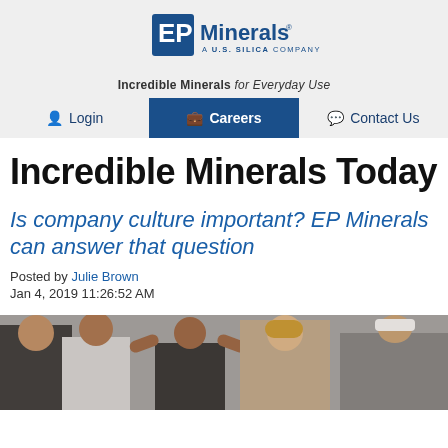[Figure (logo): EP Minerals logo - A U.S. Silica Company]
Incredible Minerals for Everyday Use
Login | Careers | Contact Us
Incredible Minerals Today
Is company culture important? EP Minerals can answer that question
Posted by Julie Brown
Jan 4, 2019 11:26:52 AM
[Figure (photo): Group of people outdoors, community/team event photo]